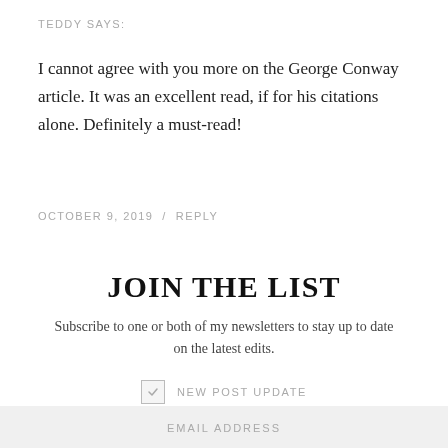TEDDY SAYS:
I cannot agree with you more on the George Conway article. It was an excellent read, if for his citations alone. Definitely a must-read!
OCTOBER 9, 2019  /  REPLY
JOIN THE LIST
Subscribe to one or both of my newsletters —to stay up to date on the latest edits.
NEW POST UPDATE
WORKDAY READING
EMAIL ADDRESS